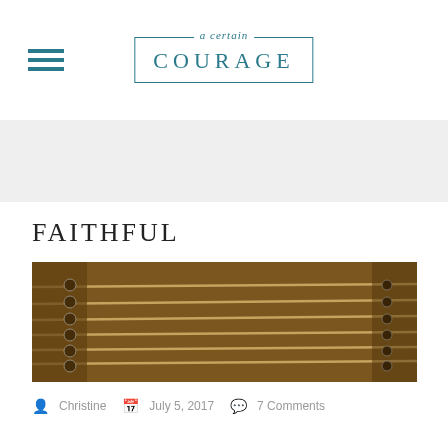a certain COURAGE
[Figure (illustration): Grey banner/hero area below the header navigation]
FAITHFUL
[Figure (photo): Close-up sepia-toned photo of guitar or dulcimer strings and tuning pegs, warm brown tones]
Christine  July 5, 2017  7 Comments